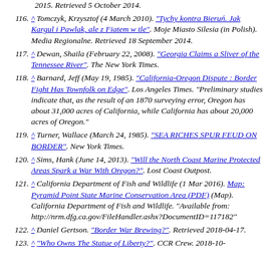116. ^ Tomczyk, Krzysztof (4 March 2010). "Tychy kontra Bieruń. Jak Kargul i Pawlak, ale z Fiatem w tle". Moje Miasto Silesia (in Polish). Media Regionalne. Retrieved 18 September 2014.
117. ^ Dewan, Shaila (February 22, 2008). "Georgia Claims a Sliver of the Tennessee River". The New York Times.
118. ^ Barnard, Jeff (May 19, 1985). "California-Oregon Dispute : Border Fight Has Townfolk on Edge". Los Angeles Times. "Preliminary studies indicate that, as the result of an 1870 surveying error, Oregon has about 31,000 acres of California, while California has about 20,000 acres of Oregon."
119. ^ Turner, Wallace (March 24, 1985). "SEA RICHES SPUR FEUD ON BORDER". New York Times.
120. ^ Sims, Hank (June 14, 2013). "Will the North Coast Marine Protected Areas Spark a War With Oregon?". Lost Coast Outpost.
121. ^ California Department of Fish and Wildlife (1 Mar 2016). Map: Pyramid Point State Marine Conservation Area (PDF) (Map). California Department of Fish and Wildlife. "Available from: http://nrm.dfg.ca.gov/FileHandler.ashx?DocumentID=117182"
122. ^ Daniel Gertson. "Border War Brewing?". Retrieved 2018-04-17.
123. ^ "Who Owns The Statue of Liberty?". CCR Crew. 2018-10-...